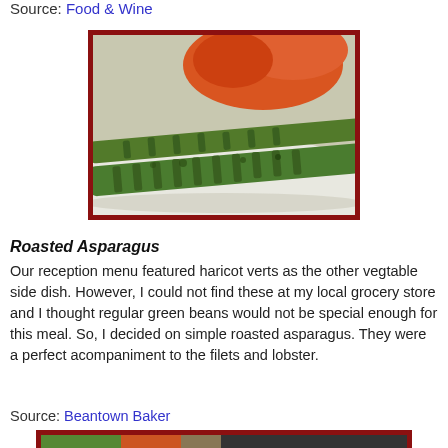Source: Food & Wine
[Figure (photo): Close-up photo of roasted asparagus spears on a white plate with orange lobster/tomato in background, framed with dark red border]
Roasted Asparagus
Our reception menu featured haricot verts as the other vegtable side dish. However, I could not find these at my local grocery store and I thought regular green beans would not be special enough for this meal. So, I decided on simple roasted asparagus. They were a perfect acompaniment to the filets and lobster.
Source: Beantown Baker
[Figure (photo): Partial photo at bottom of page, framed with dark red border, partially visible]